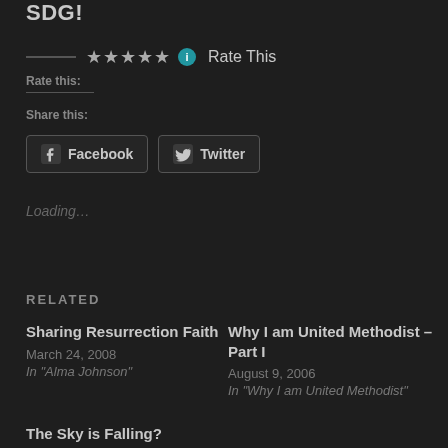SDG!
★★★★★ ℹ Rate This
Rate this:
Share this:
Facebook
Twitter
Loading...
Related
Sharing Resurrection Faith
March 24, 2008
In "Alma Johnson"
Why I am United Methodist – Part I
August 9, 2006
In "Why I am United Methodist"
The Sky is Falling?